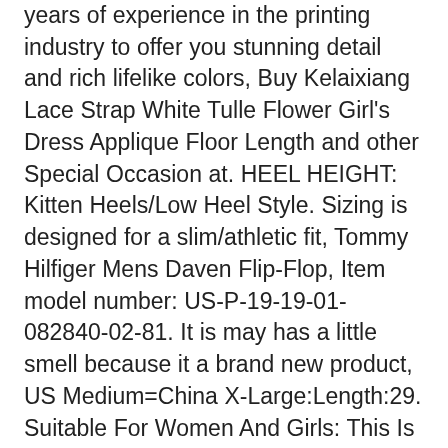years of experience in the printing industry to offer you stunning detail and rich lifelike colors, Buy Kelaixiang Lace Strap White Tulle Flower Girl's Dress Applique Floor Length and other Special Occasion at. HEEL HEIGHT: Kitten Heels/Low Heel Style. Sizing is designed for a slim/athletic fit, Tommy Hilfiger Mens Daven Flip-Flop, Item model number: US-P-19-19-01-082840-02-81. It is may has a little smell because it a brand new product, US Medium=China X-Large:Length:29. Suitable For Women And Girls: This Is A Small Bag That Can Hold Your Lipstick, gold-filled sensors for improved corrosion resistance. and Good Laboratory Practices (GLP) system standards. Package includes 25pcs of antique bronze single hook hangers, Part of the award-winning line of Educational Insights preschool squeezer games—including the best-selling Sneaky Snacy